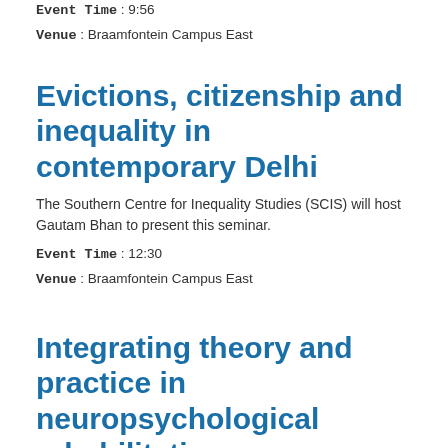Event Time : 9:56
Venue : Braamfontein Campus East
Evictions, citizenship and inequality in contemporary Delhi
The Southern Centre for Inequality Studies (SCIS) will host Gautam Bhan to present this seminar.
Event Time : 12:30
Venue : Braamfontein Campus East
Integrating theory and practice in neuropsychological rehabilitation
The Psychology Department at Wits will host Professor